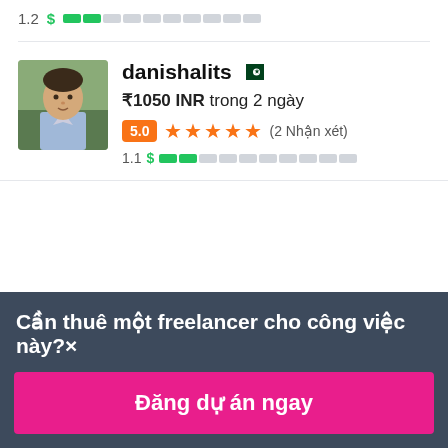1.2 $ [bar]
[Figure (screenshot): Freelancer profile card for danishalits with Pakistan flag, bid of ₹1050 INR in 2 days, rating 5.0 with 5 stars and (2 Nhận xét), and a dollar/bar metric row showing 1.1]
Cần thuê một freelancer cho công việc này? ×
Đăng dự án ngay